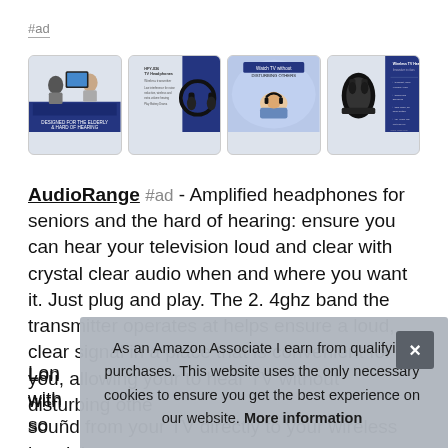#ad
[Figure (photo): Four product images of wireless TV headphones for seniors shown in a horizontal strip]
AudioRange #ad - Amplified headphones for seniors and the hard of hearing: ensure you can hear your television loud and clear with crystal clear audio when and where you want it. Just plug and play. The 2. 4ghz band the transmitter operates at helps ensure a loud, clear signal in a place that is convenient for you, allowing your to hear TV without disturbing othe
Lon with souñd from your TV directly to your wireless headphones up to
As an Amazon Associate I earn from qualifying purchases. This website uses the only necessary cookies to ensure you get the best experience on our website. More information